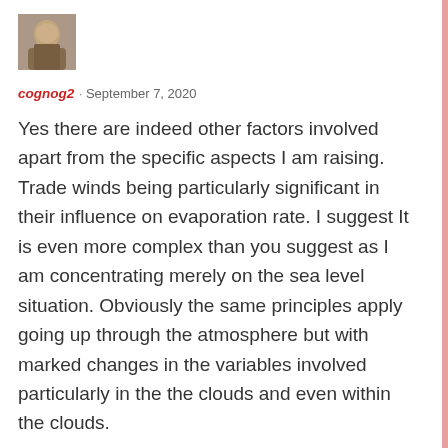[Figure (photo): Small square avatar photo of a person outdoors]
cognog2 · September 7, 2020
Yes there are indeed other factors involved apart from the specific aspects I am raising. Trade winds being particularly significant in their influence on evaporation rate. I suggest It is even more complex than you suggest as I am concentrating merely on the sea level situation. Obviously the same principles apply going up through the atmosphere but with marked changes in the variables involved particularly in the the clouds and even within the clouds.